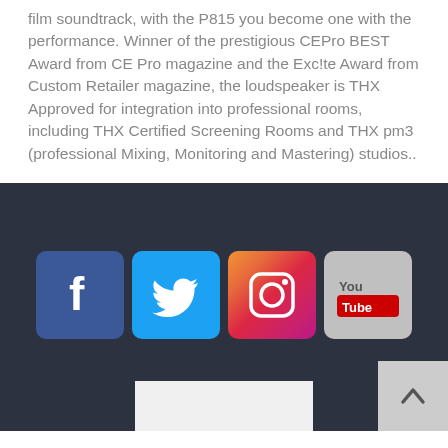film soundtrack, with the P815 you become one with the performance. Winner of the prestigious CEPro BEST Award from CE Pro magazine and the Exc!te Award from Custom Retailer magazine, the loudspeaker is THX Approved for integration into professional rooms, including THX Certified Screening Rooms and THX pm3 (professional Mixing, Monitoring and Mastering) studios..
[Figure (infographic): Social media icons row: Facebook (blue), Twitter (light blue), Instagram (colorful), YouTube (gray). Below: a white rectangle and a back-to-top button with upward chevron on gray background.]